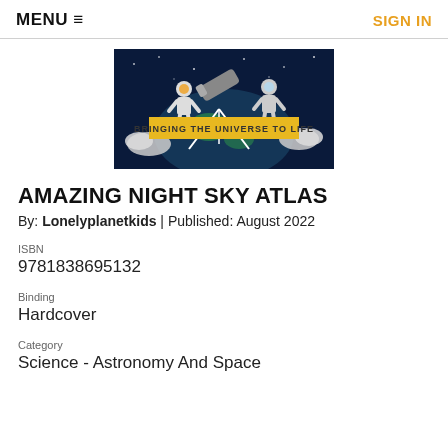MENU ≡   SIGN IN
[Figure (illustration): Book cover image for Amazing Night Sky Atlas showing animated astronaut and telescope against a dark sky background with yellow banner reading 'BRINGING THE UNIVERSE TO LIFE']
AMAZING NIGHT SKY ATLAS
By: Lonelyplanetkids | Published: August 2022
ISBN
9781838695132
Binding
Hardcover
Category
Science - Astronomy And Space